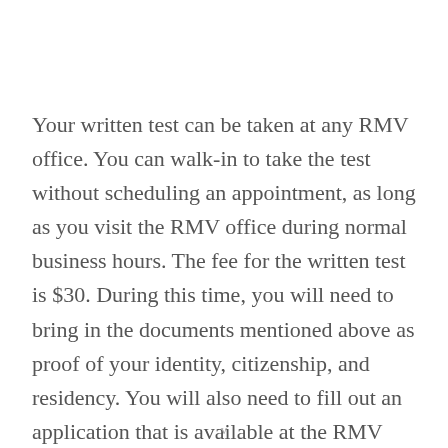Your written test can be taken at any RMV office. You can walk-in to take the test without scheduling an appointment, as long as you visit the RMV office during normal business hours. The fee for the written test is $30. During this time, you will need to bring in the documents mentioned above as proof of your identity, citizenship, and residency. You will also need to fill out an application that is available at the RMV office. The
v